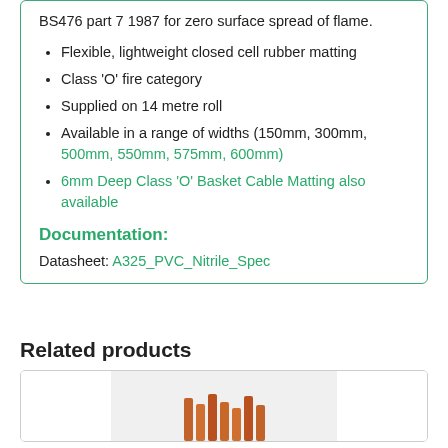BS476 part 7 1987 for zero surface spread of flame.
Flexible, lightweight closed cell rubber matting
Class 'O' fire category
Supplied on 14 metre roll
Available in a range of widths (150mm, 300mm, 500mm, 550mm, 575mm, 600mm)
6mm Deep Class 'O' Basket Cable Matting also available
Documentation:
Datasheet: A325_PVC_Nitrile_Spec
Related products
[Figure (photo): Related product image showing cables or cable matting product]